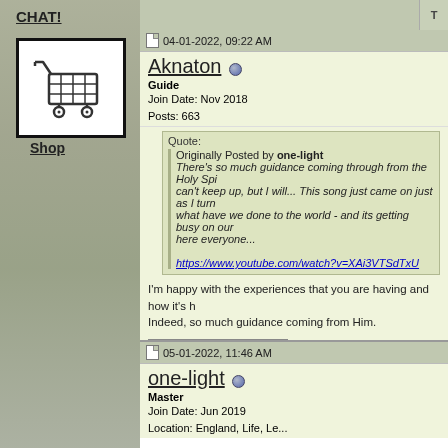CHAT!
[Figure (illustration): Shopping cart icon in black and white with thick black border]
Shop
04-01-2022, 09:22 AM
Aknaton
Guide
Join Date: Nov 2018
Posts: 663
Quote:
Originally Posted by one-light
There's so much guidance coming through from the Holy Spirit... can't keep up, but I will... This song just came on just as I turned... what have we done to the world - and its getting busy on our end here everyone...
https://www.youtube.com/watch?v=XAi3VTSdTxU
I'm happy with the experiences that you are having and how it's h
Indeed, so much guidance coming from Him.
Nevertheless I tell you the truth; It is expedient for you that I go aw
Comforter will not come unto you; but if I depart, I will send him un
John 16:7
05-01-2022, 11:46 AM
one-light
Master
Join Date: Jun 2019
Location: England, Life, Levels...